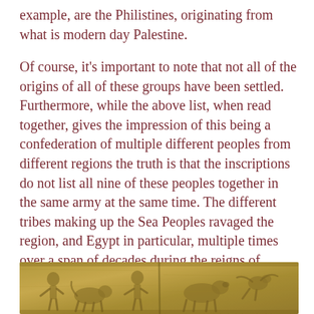example, are the Philistines, originating from what is modern day Palestine.
Of course, it's important to note that not all of the origins of all of these groups have been settled. Furthermore, while the above list, when read together, gives the impression of this being a confederation of multiple different peoples from different regions the truth is that the inscriptions do not list all nine of these peoples together in the same army at the same time. The different tribes making up the Sea Peoples ravaged the region, and Egypt in particular, multiple times over a span of decades during the reigns of Ramses the Great, Merenptah, and Ramses III.
[Figure (photo): Ancient stone relief carving showing figures of people and animals in an Egyptian or Near Eastern style, with visible carved details of human and animal forms in a brownish-gold stone relief.]